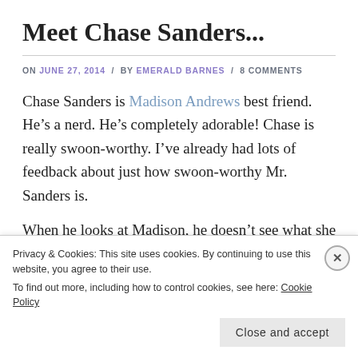Meet Chase Sanders...
ON JUNE 27, 2014 / BY EMERALD BARNES / 8 COMMENTS
Chase Sanders is Madison Andrews best friend. He’s a nerd. He’s completely adorable! Chase is really swoon-worthy. I’ve already had lots of feedback about just how swoon-worthy Mr. Sanders is.
When he looks at Madison, he doesn’t see what she
Privacy & Cookies: This site uses cookies. By continuing to use this website, you agree to their use.
To find out more, including how to control cookies, see here: Cookie Policy
Close and accept